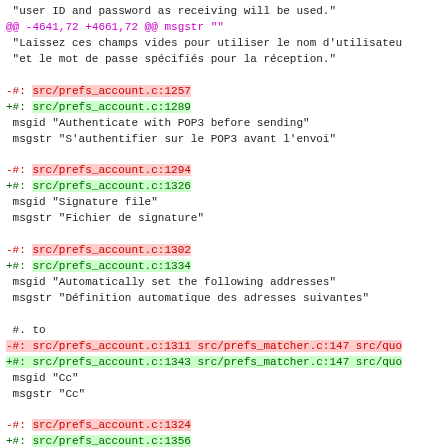diff output showing git diff of .po translation file with source reference changes and msgid/msgstr pairs